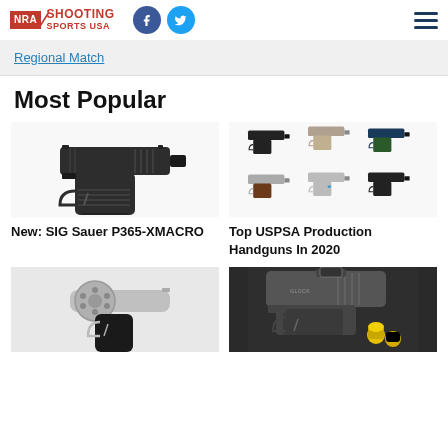NRA Shooting Sports USA
Regional Match
Most Popular
[Figure (photo): SIG Sauer P365-XMACRO pistol, black, side view]
New: SIG Sauer P365-XMACRO
[Figure (photo): Six USPSA Production handguns shown in two rows of three]
Top USPSA Production Handguns In 2020
[Figure (photo): Silver revolver, partial view from below]
[Figure (photo): Close-up of a pistol with yellow ammunition on dark background]